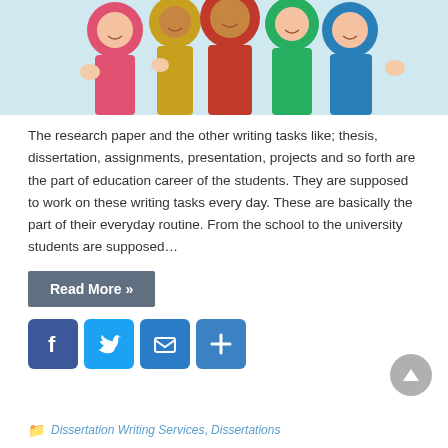[Figure (photo): Group of cheerful young students giving thumbs up, wearing colorful clothes, visible from waist up against a white background.]
The research paper and the other writing tasks like; thesis, dissertation, assignments, presentation, projects and so forth are the part of education career of the students. They are supposed to work on these writing tasks every day. These are basically the part of their everyday routine. From the school to the university students are supposed…
Read More »
[Figure (infographic): Social share buttons row: Facebook (f icon), Twitter (bird icon), Email (envelope icon), Add/Share (plus icon)]
Dissertation Writing Services, Dissertations